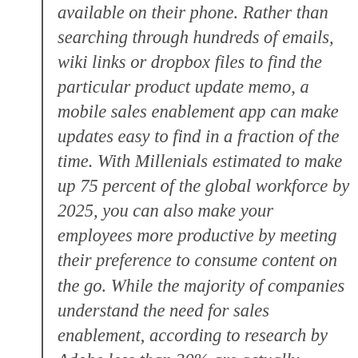available on their phone. Rather than searching through hundreds of emails, wiki links or dropbox files to find the particular product update memo, a mobile sales enablement app can make updates easy to find in a fraction of the time. With Millenials estimated to make up 75 percent of the global workforce by 2025, you can also make your employees more productive by meeting their preference to consume content on the go. While the majority of companies understand the need for sales enablement, according to research by Adobe less than 30% are actually implementing sales enablement solutions because it can be